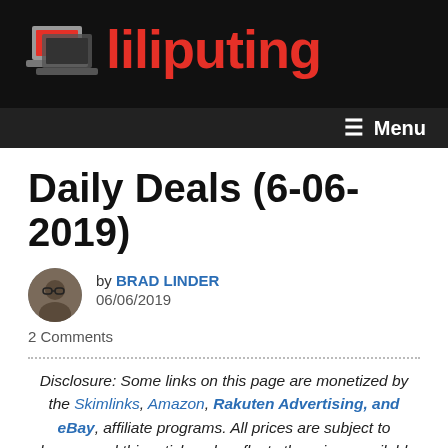[Figure (logo): Liliputing website logo with laptop icon and red text on black background]
Menu
Daily Deals (6-06-2019)
by BRAD LINDER 06/06/2019 2 Comments
Disclosure: Some links on this page are monetized by the Skimlinks, Amazon, Rakuten Advertising, and eBay, affiliate programs. All prices are subject to change, and this article only reflects the prices available at time of publication.